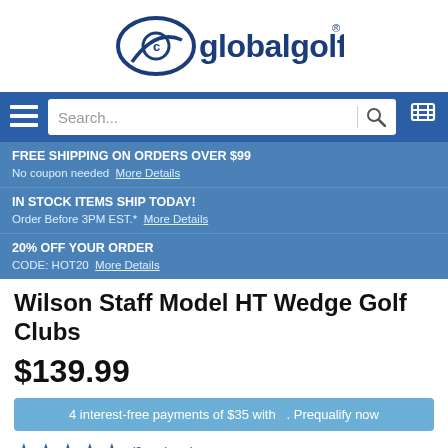[Figure (logo): Global Golf logo with stylized golf ball and swoosh icon next to 'globalgolf' text with registered trademark symbol]
[Figure (screenshot): Navigation bar with hamburger menu, search box, search icon, and cart icon on blue background]
FREE SHIPPING ON ORDERS OVER $99
No coupon needed  More Details
IN STOCK ITEMS SHIP TODAY!
Order Before 3PM EST.*  More Details
20% OFF YOUR ORDER
CODE: HOT20  More Details
Wilson Staff Model HT Wedge Golf Clubs
$139.99
4 interest-free payments of $35 with . Prequalify now
★★★★★ (3 reviews)